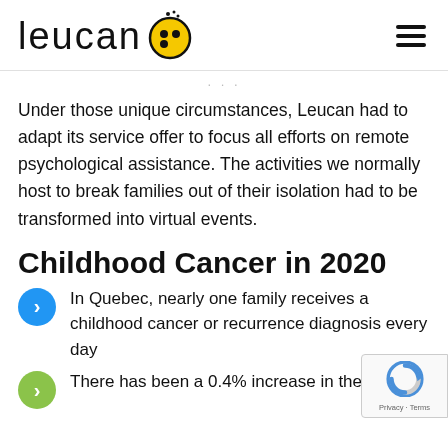leucan [logo]
...
Under those unique circumstances, Leucan had to adapt its service offer to focus all efforts on remote psychological assistance. The activities we normally host to break families out of their isolation had to be transformed into virtual events.
Childhood Cancer in 2020
In Quebec, nearly one family receives a childhood cancer or recurrence diagnosis every day
There has been a 0.4% increase in the annual...